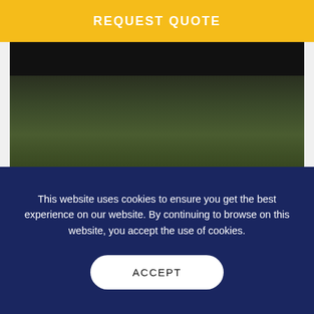REQUEST QUOTE
[Figure (photo): Photograph of a dark luxury car (Rolls-Royce) parked on a surface with green grass visible below, shot from a low angle in dim/dark lighting.]
Hire A Rolls-Royce
This website uses cookies to ensure you get the best experience on our website. By continuing to browse on this website, you accept the use of cookies.
ACCEPT